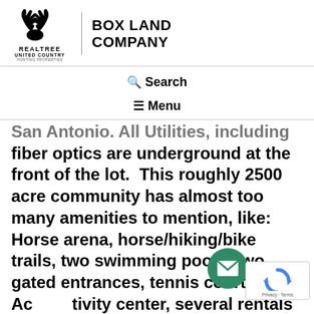[Figure (logo): Realtree United Country Hunting Properties logo with deer antler graphic, next to BOX LAND COMPANY text]
🔍 Search
≡ Menu
San Antonio. All Utilities, including fiber optics are underground at the front of the lot.  This roughly 2500 acre community has almost too many amenities to mention, like: Horse arena, horse/hiking/bike trails, two swimming pools, two gated entrances, tennis courts, Activity center, several rentals for visiting owners, and paved roads